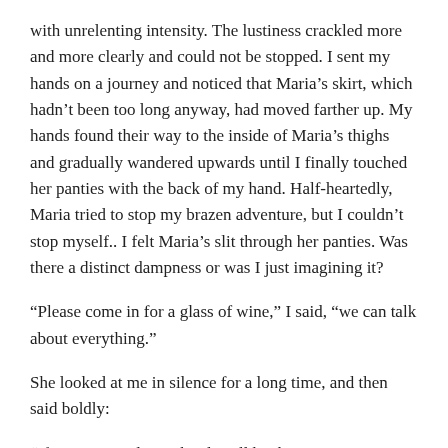with unrelenting intensity. The lustiness crackled more and more clearly and could not be stopped. I sent my hands on a journey and noticed that Maria’s skirt, which hadn’t been too long anyway, had moved farther up. My hands found their way to the inside of Maria’s thighs and gradually wandered upwards until I finally touched her panties with the back of my hand. Half-heartedly, Maria tried to stop my brazen adventure, but I couldn’t stop myself.. I felt Maria’s slit through her panties. Was there a distinct dampness or was I just imagining it?
“Please come in for a glass of wine,” I said, “we can talk about everything.”
She looked at me in silence for a long time, and then said boldly:
“If you open a decent bottle, I’ll be there.”
Within the blink of an eye, we were out of the car and in my apartment. I apologized briefly for having to go to the wine cellar and returned with a bottle of old Charmes Chambertin. After all, she said that she wanted to drink